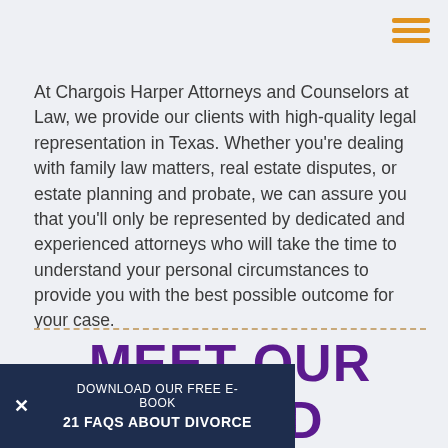[Figure (other): Hamburger menu icon with three orange horizontal bars in the top-right corner]
At Chargois Harper Attorneys and Counselors at Law, we provide our clients with high-quality legal representation in Texas. Whether you're dealing with family law matters, real estate disputes, or estate planning and probate, we can assure you that you'll only be represented by dedicated and experienced attorneys who will take the time to understand your personal circumstances to provide you with the best possible outcome for your case.
MEET OUR EXPERIENCED
DOWNLOAD OUR FREE E-BOOK
21 FAQs About Divorce